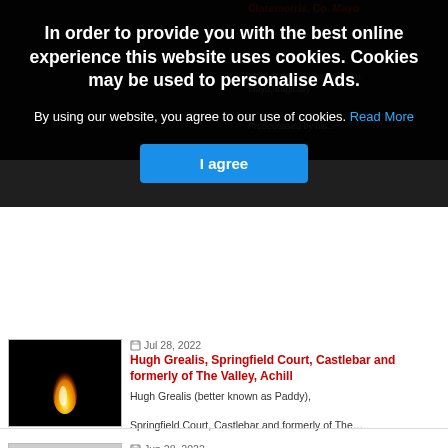[Figure (screenshot): Cookie consent modal overlay on a news/obituary website. The modal has a dark semi-transparent background with bold white text stating cookie usage policy, a blue 'I agree' button, and partially visible obituary listings behind it including a candle flame image and a photo of a man.]
In order to provide you with the best online experience this website uses cookies. Cookies may be used to personalise Ads.
By using our website, you agree to our use of cookies. Read More
I agree
Jul 28, 2022
Hugh Grealis, Springfield Court, Castlebar and formerly of The Valley, Achill
Hugh Grealis (better known as Paddy),
Springfield Court, Castlebar and formerly of The...
Jun 28, 2022
Sean Mcloughlin, New Road, Westport, Co. Mayo
Sean Mcloughlin
New Road, Westport, Co. Mayo...